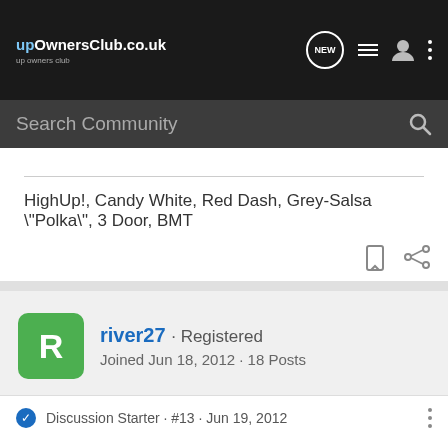upOwnersClub.co.uk
Search Community
HighUp!, Candy White, Red Dash, Grey-Salsa \"Polka\", 3 Door, BMT
river27 · Registered
Joined Jun 18, 2012 · 18 Posts
Discussion Starter · #13 · Jun 19, 2012
Thanks Gemma and Carlyup!